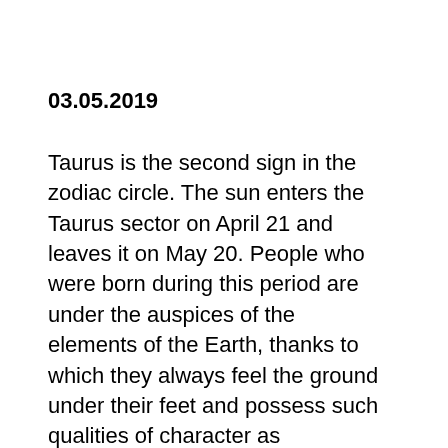03.05.2019
Taurus is the second sign in the zodiac circle. The sun enters the Taurus sector on April 21 and leaves it on May 20. People who were born during this period are under the auspices of the elements of the Earth, thanks to which they always feel the ground under their feet and possess such qualities of character as thoroughness,